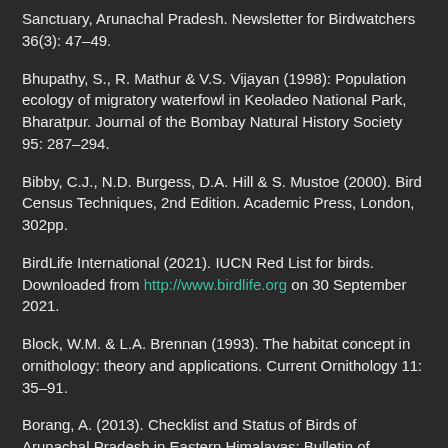Sanctuary, Arunachal Pradesh. Newsletter for Birdwatchers 36(3): 47–49.
Bhupathy, S., R. Mathur & V.S. Vijayan (1998): Population ecology of migratory waterfowl in Keoladeo National Park, Bharatpur. Journal of the Bombay Natural History Society 95: 287–294.
Bibby, C.J., N.D. Burgess, D.A. Hill & S. Mustoe (2000). Bird Census Techniques, 2nd Edition. Academic Press, London, 302pp.
BirdLife International (2021). IUCN Red List for birds. Downloaded from http://www.birdlife.org on 30 September 2021.
Block, W.M. & L.A. Brennan (1993). The habitat concept in ornithology: theory and applications. Current Ornithology 11: 35–91.
Borang, A. (2013). Checklist and Status of Birds of Arunachal Pradesh in Eastern Himalayas: Bulletin of Arunachal Forest Research 28 & 29 (1 & 2):19–54.